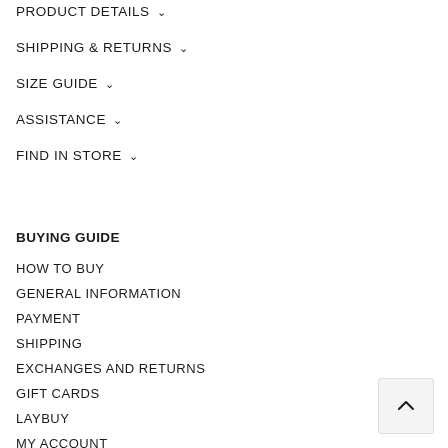PRODUCT DETAILS ∨
SHIPPING & RETURNS ∨
SIZE GUIDE ∨
ASSISTANCE ∨
FIND IN STORE ∨
BUYING GUIDE
HOW TO BUY
GENERAL INFORMATION
PAYMENT
SHIPPING
EXCHANGES AND RETURNS
GIFT CARDS
LAYBUY
MY ACCOUNT